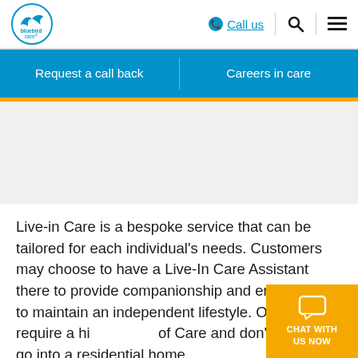[Figure (logo): Bluebird Care logo — blue circle with bird and text 'bluebird care']
Call us | Search | Menu
Request a call back
Careers in care
Live-in Care is a bespoke service that can be tailored for each individual's needs. Customers may choose to have a Live-In Care Assistant there to provide companionship and enable them to maintain an independent lifestyle. Others may require a higher level of Care and don't want to go into a residential home.
[Figure (infographic): Orange chat widget in bottom-right corner with speech bubble icon and text 'CHAT WITH US NOW']